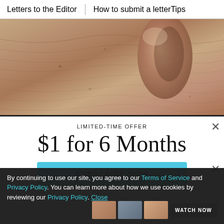Letters to the Editor | How to submit a letter | Tips
[Figure (photo): Close-up photo of elderly skin showing textured wrinkles near an ear]
LIMITED-TIME OFFER
$1 for 6 Months
SUBSCRIBE NOW
By continuing to use our site, you agree to our Terms of Service and Privacy Policy. You can learn more about how we use cookies by reviewing our Privacy Policy. Close